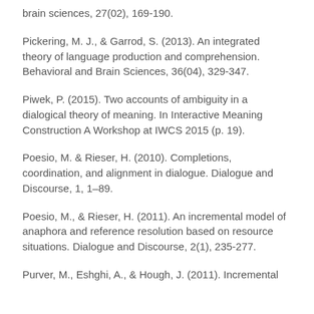brain sciences, 27(02), 169-190.
Pickering, M. J., & Garrod, S. (2013). An integrated theory of language production and comprehension. Behavioral and Brain Sciences, 36(04), 329-347.
Piwek, P. (2015). Two accounts of ambiguity in a dialogical theory of meaning. In Interactive Meaning Construction A Workshop at IWCS 2015 (p. 19).
Poesio, M. & Rieser, H. (2010). Completions, coordination, and alignment in dialogue. Dialogue and Discourse, 1, 1–89.
Poesio, M., & Rieser, H. (2011). An incremental model of anaphora and reference resolution based on resource situations. Dialogue and Discourse, 2(1), 235-277.
Purver, M., Eshghi, A., & Hough, J. (2011). Incremental